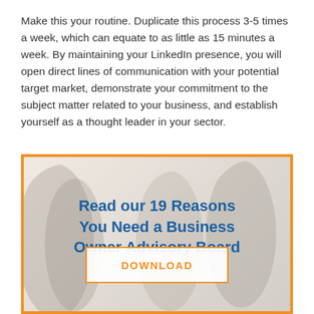Make this your routine. Duplicate this process 3-5 times a week, which can equate to as little as 15 minutes a week. By maintaining your LinkedIn presence, you will open direct lines of communication with your potential target market, demonstrate your commitment to the subject matter related to your business, and establish yourself as a thought leader in your sector.
[Figure (infographic): Promotional call-to-action banner with orange border, background photo of business people, blue bold title text 'Read our 19 Reasons You Need a Business Owner Advisory Board', and an orange-bordered Download button.]